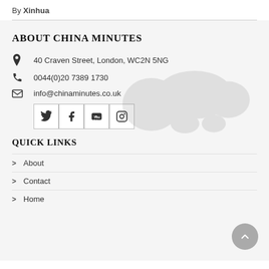By Xinhua
ABOUT CHINA MINUTES
40 Craven Street, London, WC2N 5NG
0044(0)20 7389 1730
info@chinaminutes.co.uk
[Figure (infographic): Social media icons: Twitter, Facebook, YouTube, Instagram]
QUICK LINKS
About
Contact
Home